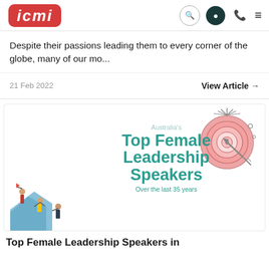ICMI [logo]
Despite their passions leading them to every corner of the globe, many of our mo...
21 Feb 2022   View Article →
[Figure (illustration): Promotional card for Australia's Top Female Leadership Speakers Over the last 35 years, featuring climbers illustration and target/dartboard graphic]
Top Female Leadership Speakers in